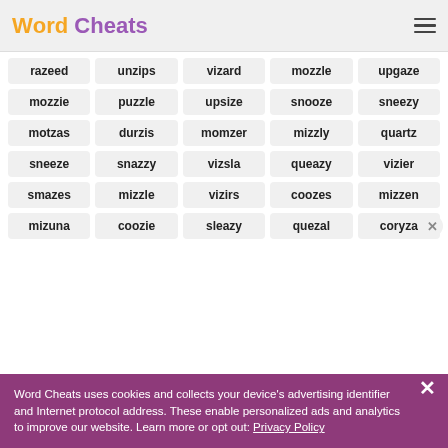Word Cheats
razeed
unzips
vizard
mozzle
upgaze
mozzie
puzzle
upsize
snooze
sneezy
motzas
durzis
momzer
mizzly
quartz
sneeze
snazzy
vizsla
queazy
vizier
smazes
mizzle
vizirs
coozes
mizzen
mizuna
coozie
sleazy
quezal
coryza
Word Cheats uses cookies and collects your device's advertising identifier and Internet protocol address. These enable personalized ads and analytics to improve our website. Learn more or opt out: Privacy Policy